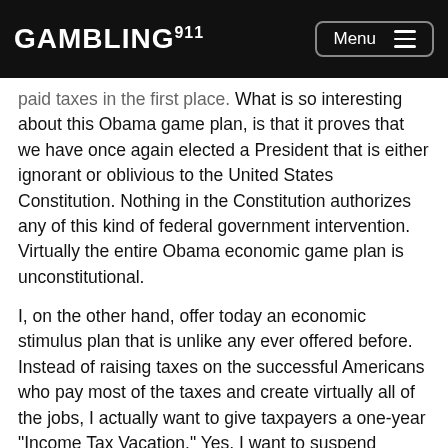GAMBLING911 Menu
paid taxes in the first place. What is so interesting about this Obama game plan, is that it proves that we have once again elected a President that is either ignorant or oblivious to the United States Constitution. Nothing in the Constitution authorizes any of this kind of federal government intervention. Virtually the entire Obama economic game plan is unconstitutional.
I, on the other hand, offer today an economic stimulus plan that is unlike any ever offered before. Instead of raising taxes on the successful Americans who pay most of the taxes and create virtually all of the jobs, I actually want to give taxpayers a one-year "Income Tax Vacation." Yes, I want to suspend income taxes for 2009 and tell the I.R.S. to take the year off. I can hear the liberal, big-government, tax and spenders screaming right now. But before I explain the details of